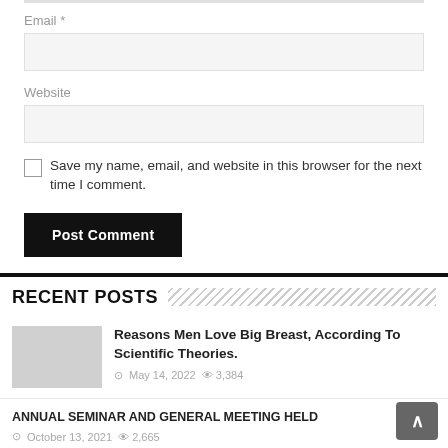Email *
Website
Save my name, email, and website in this browser for the next time I comment.
Post Comment
RECENT POSTS
Reasons Men Love Big Breast, According To Scientific Theories.
May 14, 2022   3,384
ANNUAL SEMINAR AND GENERAL MEETING HELD
October 13, 2021   2,665
Popular Juju Man In Sekondi Taken To Hospital Over Broken Heart